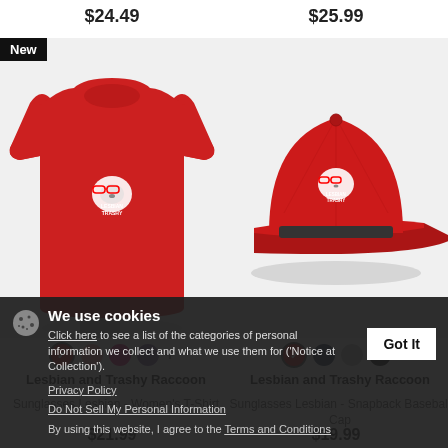$24.49
$25.99
[Figure (photo): Red women's t-shirt with raccoon sunglasses Lesbian and Trashy graphic, worn by a female model. Black 'New' badge in top left corner.]
[Figure (photo): Red snapback baseball cap with raccoon sunglasses Lesbian and Trashy graphic on the front, on a gray background.]
Lesbian and Trashy Raccoon
Lesbian and Trashy Raccoon
Sunglasses Lesbian - Women's T-Shirt
Sunglasses Lesbian - Snapback Baseball Cap
$21.99
$19.99
We use cookies
Click here to see a list of the categories of personal information we collect and what we use them for ('Notice at Collection').
Privacy Policy
Do Not Sell My Personal Information
By using this website, I agree to the Terms and Conditions